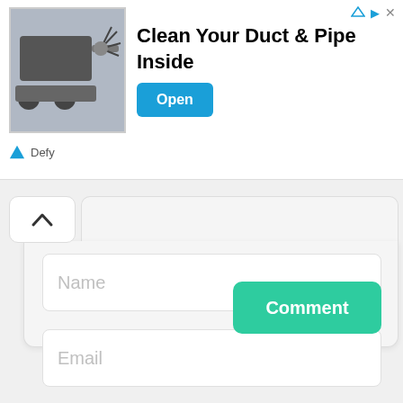[Figure (screenshot): Advertisement banner showing a duct cleaning machine with text 'Clean Your Duct & Pipe Inside', an Open button, and Defy brand logo]
[Figure (screenshot): Comment form UI with collapse/expand button (chevron up), Name input field, Email input field, and a teal Comment button]